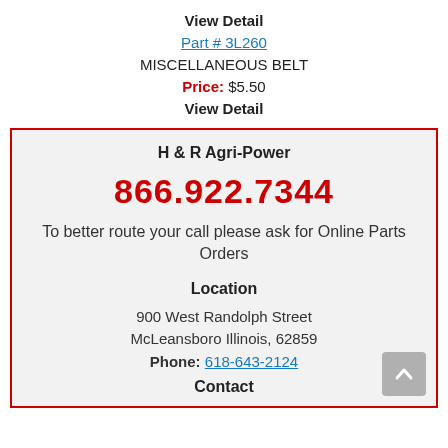View Detail
Part # 3L260
MISCELLANEOUS BELT
Price: $5.50
View Detail
H & R Agri-Power
866.922.7344
To better route your call please ask for Online Parts Orders
Location
900 West Randolph Street
McLeansboro Illinois, 62859
Phone: 618-643-2124
Contact